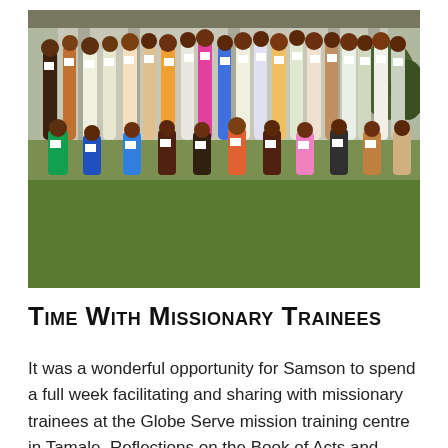[Figure (photo): Group photo of missionary trainees standing and kneeling outdoors in front of a building, holding white papers/certificates. Green lawn in foreground, bright sunny day.]
Time With Missionary Trainees
It was a wonderful opportunity for Samson to spend a full week facilitating and sharing with missionary trainees at the Globe Serve mission training centre in Tamale. Reflections on the Book of Acts and Church planting brought a great